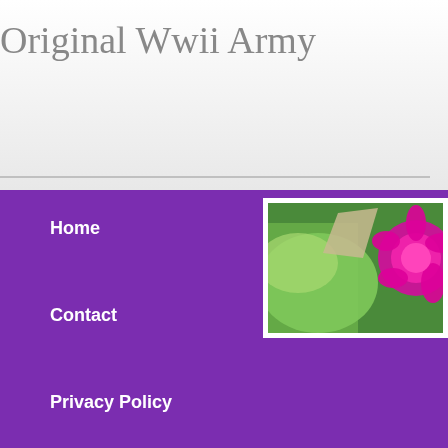Original Wwii Army
Home
Contact
Privacy Policy
Service Agreement
[Figure (photo): Close-up photo of a pink/magenta flower with green leaves in background]
Home
Navigation
Contact
Original Wwii Ww2... Framed Let The Wo...
Posted Thu, 07/07/2022 - 11:13